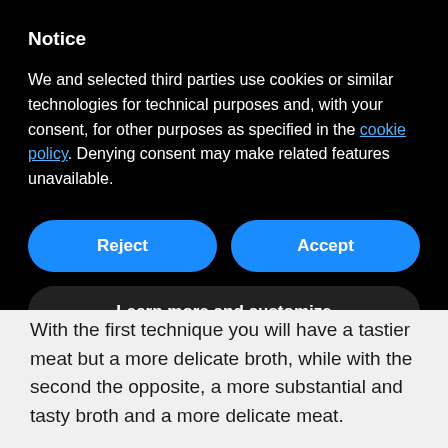Notice
We and selected third parties use cookies or similar technologies for technical purposes and, with your consent, for other purposes as specified in the cookie policy. Denying consent may make related features unavailable.
Reject
Accept
Learn more and customize
With the first technique you will have a tastier meat but a more delicate broth, while with the second the opposite, a more substantial and tasty broth and a more delicate meat.
Dish composition and meat cuts: